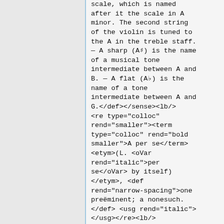scale, which is named after it the scale in A minor. The second string of the violin is tuned to the A in the treble staff. — A sharp (A♯) is the name of a musical tone intermediate between A and B. — A flat (A♭) is the name of a tone intermediate between A and G.</def></sense><lb/>
<re type="colloc" rend="smaller"><term type="colloc" rend="bold smaller">A per se</term><etym>(L. <oVar rend="italic">per se</oVar> by itself)</etym>, <def rend="narrow-spacing">one preëminent; a nonesuch.</def> <usg rend="italic"></usg></re><lb/>
<cit type="quotation">